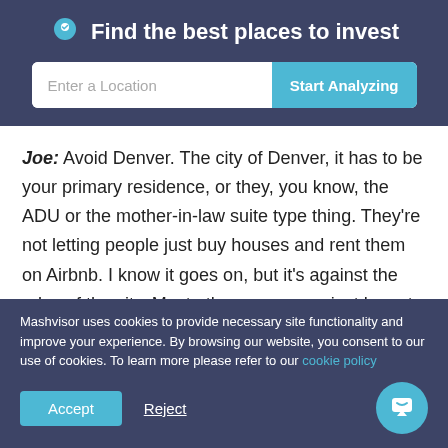Find the best places to invest
Joe: Avoid Denver. The city of Denver, it has to be your primary residence, or they, you know, the ADU or the mother-in-law suite type thing. They're not letting people just buy houses and rent them on Airbnb. I know it goes on, but it's against the rules of the city. Most other areas, you just have to have a license. If you go to the mountain towns or Fort Collins, you just have to get a license because they
Mashvisor uses cookies to provide necessary site functionality and improve your experience. By browsing our website, you consent to our use of cookies. To learn more please refer to our cookie policy